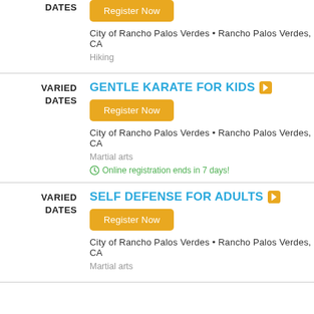DATES | Register Now | City of Rancho Palos Verdes • Rancho Palos Verdes, CA | Hiking
VARIED DATES | GENTLE KARATE FOR KIDS | Register Now | City of Rancho Palos Verdes • Rancho Palos Verdes, CA | Martial arts | Online registration ends in 7 days!
VARIED DATES | SELF DEFENSE FOR ADULTS | Register Now | City of Rancho Palos Verdes • Rancho Palos Verdes, CA | Martial arts